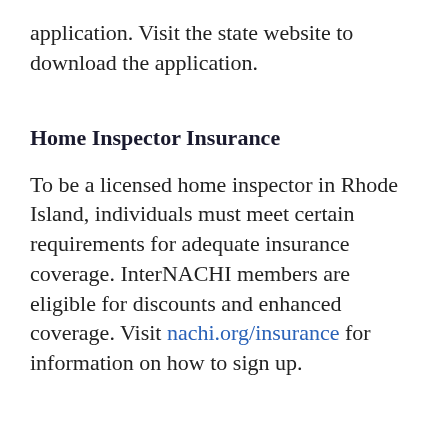application. Visit the state website to download the application.
Home Inspector Insurance
To be a licensed home inspector in Rhode Island, individuals must meet certain requirements for adequate insurance coverage. InterNACHI members are eligible for discounts and enhanced coverage. Visit nachi.org/insurance for information on how to sign up.